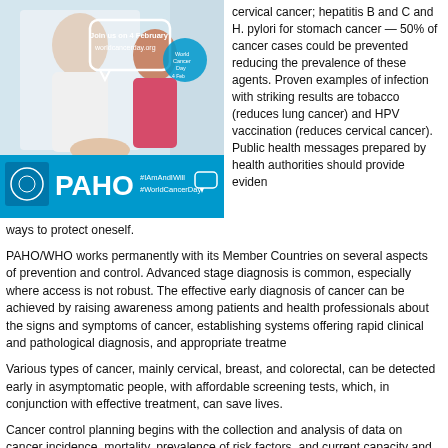[Figure (photo): PAHO World Cancer Day promotional image showing a doctor and patient, with text 'Join us on 4 February worldcancerday.org' and '#IAmAndIWill #WorldCancerDay' on a teal banner with PAHO logo.]
cervical cancer; hepatitis B and C and H. pylori for stomach cancer — 50% of cancer cases could be prevented reducing the prevalence of these agents. Proven examples of infection with striking results are tobacco (reduces lung cancer) and HPV vaccination (reduces cervical cancer). Public health messages prepared by health authorities should provide evidence
ways to protect oneself.
PAHO/WHO works permanently with its Member Countries on several aspects of prevention and control. Advanced stage diagnosis is common, especially where access is not robust. The effective early diagnosis of cancer can be achieved by raising awareness among patients and health professionals about the signs and symptoms of cancer, establishing systems offering rapid clinical and pathological diagnosis, and appropriate treatment.
Various types of cancer, mainly cervical, breast, and colorectal, can be detected early in asymptomatic people, with affordable screening tests, which, in conjunction with effective treatment, can save lives.
Cancer control planning begins with the collection and analysis of data on cancer incidence, mortality, prevalence of risk factors, and current capacity and system performance.